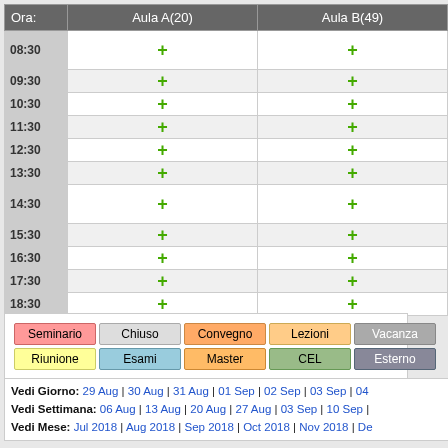| Ora: | Aula A(20) | Aula B(49) |
| --- | --- | --- |
| 08:30 | + | + |
| 09:30 | + | + |
| 10:30 | + | + |
| 11:30 | + | + |
| 12:30 | + | + |
| 13:30 | + | + |
| 14:30 | + | + |
| 15:30 | + | + |
| 16:30 | + | + |
| 17:30 | + | + |
| 18:30 | + | + |
| Seminario | Chiuso | Convegno | Lezioni | Vacanza |
| Riunione | Esami | Master | CEL | Esterno |
Vedi Giorno: 29 Aug | 30 Aug | 31 Aug | 01 Sep | 02 Sep | 03 Sep | 04
Vedi Settimana: 06 Aug | 13 Aug | 20 Aug | 27 Aug | 03 Sep | 10 Sep |
Vedi Mese: Jul 2018 | Aug 2018 | Sep 2018 | Oct 2018 | Nov 2018 | De